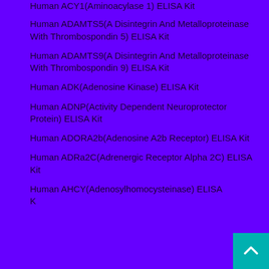Human ACY1(Aminoacylase 1) ELISA Kit
Human ADAMTS5(A Disintegrin And Metalloproteinase With Thrombospondin 5) ELISA Kit
Human ADAMTS9(A Disintegrin And Metalloproteinase With Thrombospondin 9) ELISA Kit
Human ADK(Adenosine Kinase) ELISA Kit
Human ADNP(Activity Dependent Neuroprotector Protein) ELISA Kit
Human ADORA2b(Adenosine A2b Receptor) ELISA Kit
Human ADRa2C(Adrenergic Receptor Alpha 2C) ELISA Kit
Human AHCY(Adenosylhomocysteinase) ELISA Kit